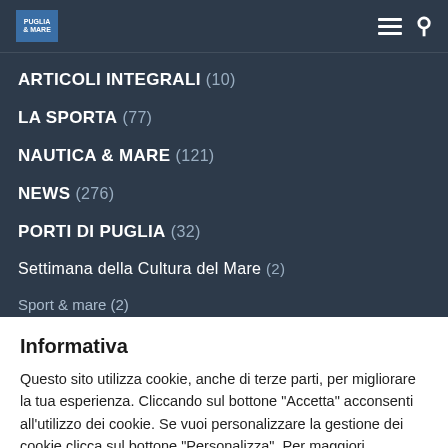Navigation menu with logo, hamburger icon, and search icon
ARTICOLI INTEGRALI (10)
LA SPORTA (77)
NAUTICA & MARE (121)
NEWS (276)
PORTI DI PUGLIA (32)
Settimana della Cultura del Mare (2)
Sport & mare (2)
Informativa
Questo sito utilizza cookie, anche di terze parti, per migliorare la tua esperienza. Cliccando sul bottone "Accetta" acconsenti all'utilizzo dei cookie. Se vuoi personalizzare la gestione dei cookie clicca sul bottone "Personalizza". Per maggiori informazioni Clicca Qui
Personalizza | Accetta | Rifiuta